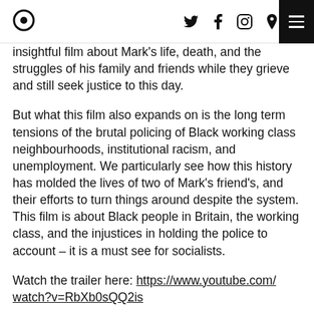[logo] [twitter] [facebook] [instagram] [location] [menu]
insightful film about Mark's life, death, and the struggles of his family and friends while they grieve and still seek justice to this day.
But what this film also expands on is the long term tensions of the brutal policing of Black working class neighbourhoods, institutional racism, and unemployment. We particularly see how this history has molded the lives of two of Mark's friend's, and their efforts to turn things around despite the system. This film is about Black people in Britain, the working class, and the injustices in holding the police to account – it is a must see for socialists.
Watch the trailer here: https://www.youtube.com/watch?v=RbXb0sQQ2is
"The Hard Stop shows us the humans behind the headlines" – The Guardian